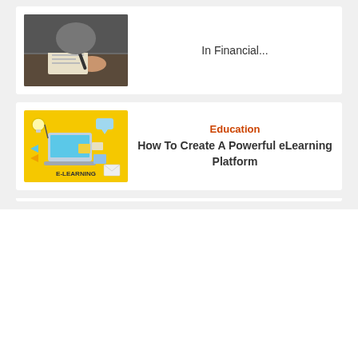[Figure (photo): Person writing or counting money, financial theme image]
In Financial...
[Figure (illustration): E-learning illustration with laptop, lightbulb, and icons on yellow background with text E-LEARNING]
Education
How To Create A Powerful eLearning Platform